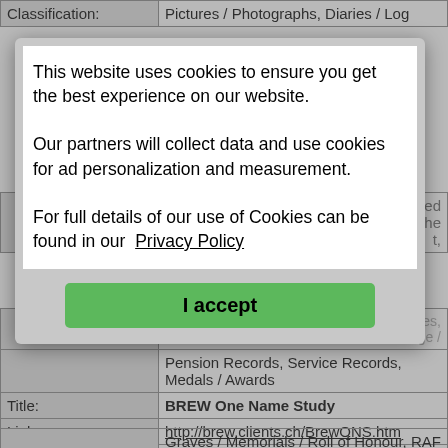| Classification: | Pictures / Photographs, Diaries / Log |
|  | ...rmed ...he ...t, |
|  | ...nes, ...rge /
Pension Records, Service Records,
Medals / Awards |
| Title: | BREW One Name Study |
| Link: | http://brew.clients.ch/BrewONS.htm |
| Description: | BREW One Name Study |
| Extra Info: | Look under databases for details of BREW's with a military connection. |
| Classification: | Graves / Memorials / Roll of Honour, RAF / RFC / RNAS, Navy, Army, World War I, World War II, Boer Wars, Crimean War, |
This website uses cookies to ensure you get the best experience on our website.
Our partners will collect data and use cookies for ad personalization and measurement.
For full details of our use of Cookies can be found in our Privacy Policy